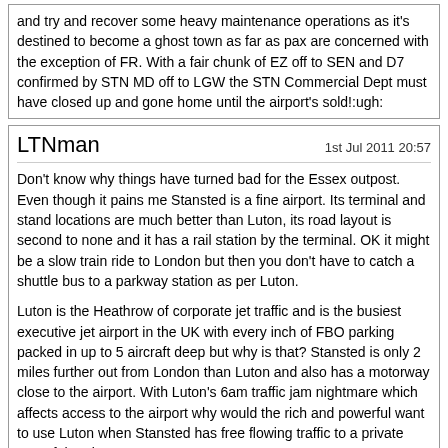and try and recover some heavy maintenance operations as it's destined to become a ghost town as far as pax are concerned with the exception of FR. With a fair chunk of EZ off to SEN and D7 confirmed by STN MD off to LGW the STN Commercial Dept must have closed up and gone home until the airport's sold!:ugh:
LTNman
1st Jul 2011 20:57
Don't know why things have turned bad for the Essex outpost. Even though it pains me Stansted is a fine airport. Its terminal and stand locations are much better than Luton, its road layout is second to none and it has a rail station by the terminal. OK it might be a slow train ride to London but then you don't have to catch a shuttle bus to a parkway station as per Luton.

Luton is the Heathrow of corporate jet traffic and is the busiest executive jet airport in the UK with every inch of FBO parking packed in up to 5 aircraft deep but why is that? Stansted is only 2 miles further out from London than Luton and also has a motorway close to the airport. With Luton's 6am traffic jam nightmare which affects access to the airport why would the rich and powerful want to use Luton when Stansted has free flowing traffic to a private part of the airport.

OK Stansted might not be in a good location if you are travelling anywhere other than London but then it is meant to be a London airport.
STN Ramp Rat
1st Jul 2011 21:13